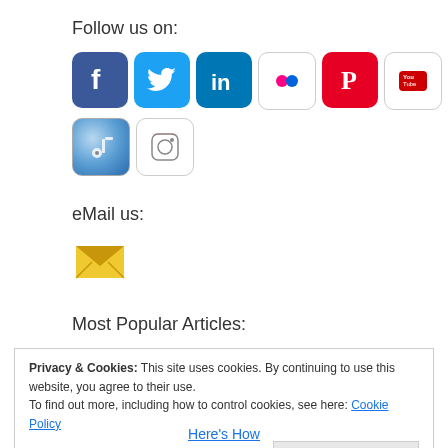Follow us on:
[Figure (illustration): Row of social media icons: Facebook, Twitter, LinkedIn, Flickr, Pinterest, YouTube, RSS]
[Figure (illustration): Second row of social media icons: iTunes/Music, Instagram]
eMail us:
[Figure (illustration): Email envelope icon]
Most Popular Articles:
Privacy & Cookies: This site uses cookies. By continuing to use this website, you agree to their use.
To find out more, including how to control cookies, see here: Cookie Policy
Close and accept
Here's How